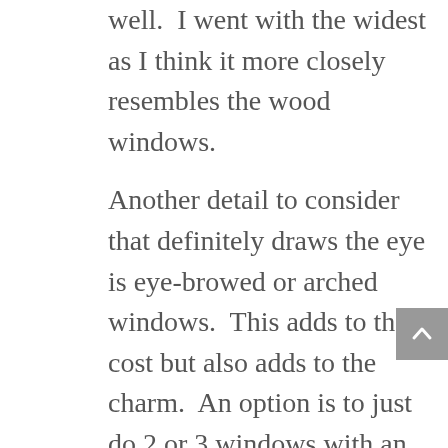well.  I went with the widest as I think it more closely resembles the wood windows.
Another detail to consider that definitely draws the eye is eye-browed or arched windows.  This adds to the cost but also adds to the charm.  An option is to just do 2 or 3 windows with an eye-brow and then talk with the contractor about little tricks that can be done to make more windows appear to be arched due to the way the brick or stone is laid around the window.  This house